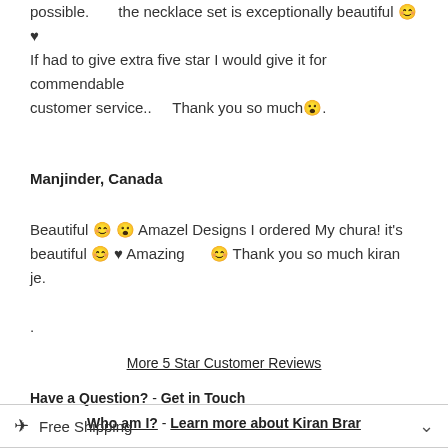possible.      the necklace set is exceptionally beautiful 😊♥ If had to give extra five star I would give it for commendable customer service..    Thank you so much😔.
Manjinder, Canada
Beautiful 😊 😔 Amazel Designs I ordered My chura! it's beautiful 😊 ♥ Amazing    😊 Thank you so much kiran je.

.
More 5 Star Customer Reviews
Have a Question? - Get in Touch
Who am I? - Learn more about Kiran Brar
✈ Free Shipping